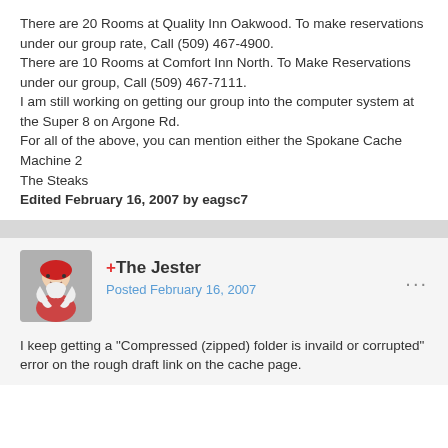There are 20 Rooms at Quality Inn Oakwood. To make reservations under our group rate, Call (509) 467-4900.
There are 10 Rooms at Comfort Inn North. To Make Reservations under our group, Call (509) 467-7111.
I am still working on getting our group into the computer system at the Super 8 on Argone Rd.
For all of the above, you can mention either the Spokane Cache Machine 2
The Steaks
Edited February 16, 2007 by eagsc7
+The Jester
Posted February 16, 2007
I keep getting a "Compressed (zipped) folder is invaild or corrupted" error on the rough draft link on the cache page.